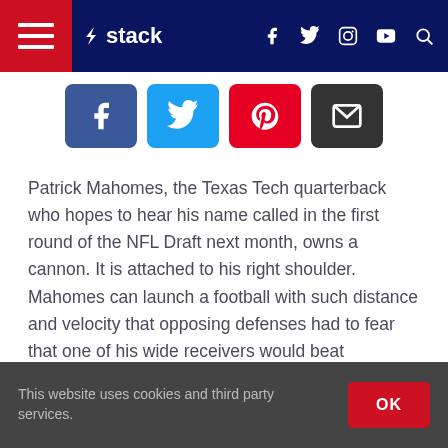stack (navigation bar with hamburger menu, logo, social icons, search)
[Figure (screenshot): Social share buttons row: Facebook (blue), Twitter (light blue), Pinterest (red), Email (black)]
Patrick Mahomes, the Texas Tech quarterback who hopes to hear his name called in the first round of the NFL Draft next month, owns a cannon. It is attached to his right shoulder. Mahomes can launch a football with such distance and velocity that opposing defenses had to fear that one of his wide receivers would beat coverage deep, because if they did, it was game over.
This website uses cookies and third party services.